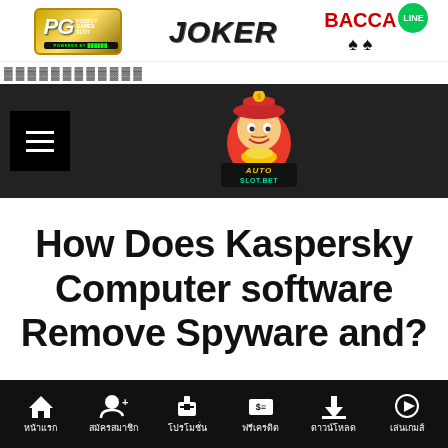[Figure (logo): PG Pocket Games Soft logo, gold/green box]
[Figure (logo): JOKER logo in bold italic black text]
[Figure (logo): BACCARAT with LINE green circle badge]
▓▓▓▓▓▓▓▓▓▓▓▓
[Figure (logo): Auto Slot Bet website header with dark background, hamburger menu, and auto slot bet mascot logo in center]
How Does Kaspersky Computer software Remove Spyware and?
[Figure (infographic): Bottom navigation bar with icons: home (หน้าแรก), register (สมัครสมาชิก), promotion (โปรโมชั่น), free credit (ฟรีเครดิต), download (ดาวน์โหลด), play games (เล่นเกมส์)]